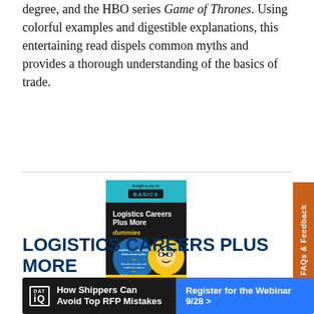degree, and the HBO series Game of Thrones. Using colorful examples and digestible explanations, this entertaining read dispels common myths and provides a thorough understanding of the basics of trade.
[Figure (illustration): Book cover of 'Logistics Careers Plus More for Dummies' - black and yellow cover with the Dummies mascot character wearing glasses, a blue circular badge with text about supply chain career paths, education and certification options, and building a supply chain career road map.]
LOGISTICS CAREERS PLUS MORE FOR DUMMIES
[Figure (infographic): Advertisement banner: DAT iQ logo on dark background, text 'How Shippers Can Avoid Top RFP Mistakes', blue button 'Register for the Webinar 9/28 >']